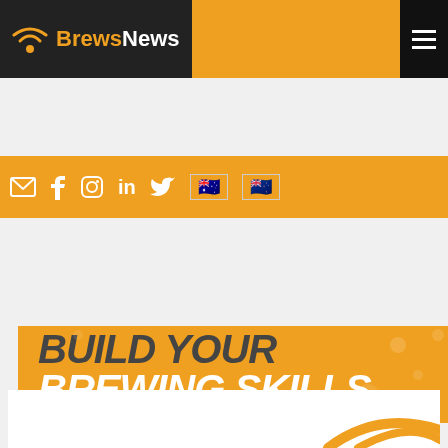BrewsNews
[Figure (screenshot): BrewsNews website header with logo, social media icons (email, Facebook, Instagram, LinkedIn, Twitter), Australian and New Zealand flag icons, and hamburger menu button on orange background]
[Figure (infographic): Orange banner advertisement reading BUILD YOUR BREWING SKILLS in bold italic text]
tax
[Figure (logo): Partial BrewsNews logo visible at bottom of page in white area]